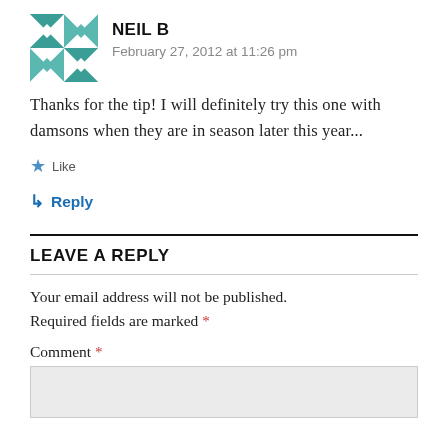[Figure (illustration): Teal and white geometric quilt-pattern avatar for user Neil B]
NEIL B
February 27, 2012 at 11:26 pm
Thanks for the tip! I will definitely try this one with damsons when they are in season later this year...
★ Like
↳ Reply
LEAVE A REPLY
Your email address will not be published. Required fields are marked *
Comment *